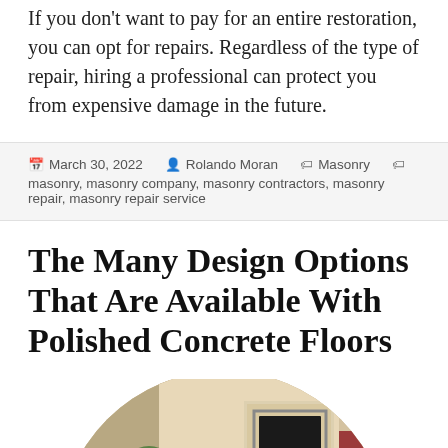If you don't want to pay for an entire restoration, you can opt for repairs. Regardless of the type of repair, hiring a professional can protect you from expensive damage in the future.
March 30, 2022   Rolando Moran   Masonry   masonry, masonry company, masonry contractors, masonry repair, masonry repair service
The Many Design Options That Are Available With Polished Concrete Floors
[Figure (photo): Circular cropped interior photo showing a room with a fireplace, plants, and warm-toned walls]